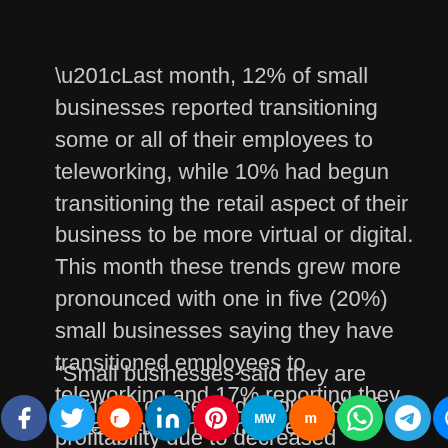“Last month, 12% of small businesses reported transitioning some or all of their employees to teleworking, while 10% had begun transitioning the retail aspect of their business to be more virtual or digital. This month these trends grew more pronounced with one in five (20%) small businesses saying they have transitioned employees to teleworking and 17% reporting they have transitioned their retail presence to be more virtual or digital.” -US Chamber Poll
"Small businesses said they are primarily concerned about lack of profitability due to decreased customers...